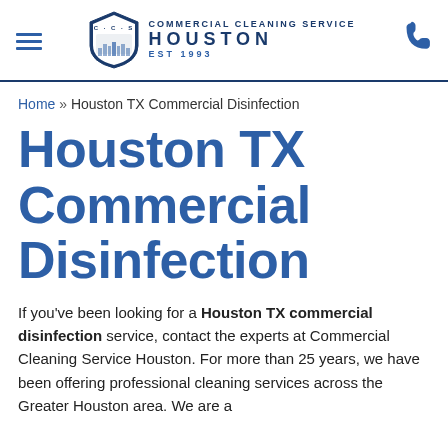COMMERCIAL CLEANING SERVICE HOUSTON EST 1993
Home » Houston TX Commercial Disinfection
Houston TX Commercial Disinfection
If you've been looking for a Houston TX commercial disinfection service, contact the experts at Commercial Cleaning Service Houston. For more than 25 years, we have been offering professional cleaning services across the Greater Houston area. We are a